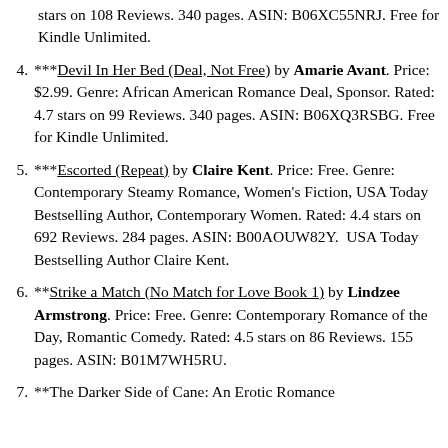(continuation) stars on 108 Reviews. 340 pages. ASIN: B06XC55NRJ. Free for Kindle Unlimited.
4. ***Devil In Her Bed (Deal, Not Free) by Amarie Avant. Price: $2.99. Genre: African American Romance Deal, Sponsor. Rated: 4.7 stars on 99 Reviews. 340 pages. ASIN: B06XQ3RSBG. Free for Kindle Unlimited.
5. ***Escorted (Repeat) by Claire Kent. Price: Free. Genre: Contemporary Steamy Romance, Women's Fiction, USA Today Bestselling Author, Contemporary Women. Rated: 4.4 stars on 692 Reviews. 284 pages. ASIN: B00AOUW82Y.  USA Today Bestselling Author Claire Kent.
6. **Strike a Match (No Match for Love Book 1) by Lindzee Armstrong. Price: Free. Genre: Contemporary Romance of the Day, Romantic Comedy. Rated: 4.5 stars on 86 Reviews. 155 pages. ASIN: B01M7WH5RU.
7. **The Darker Side of Cane: An Erotic Romance